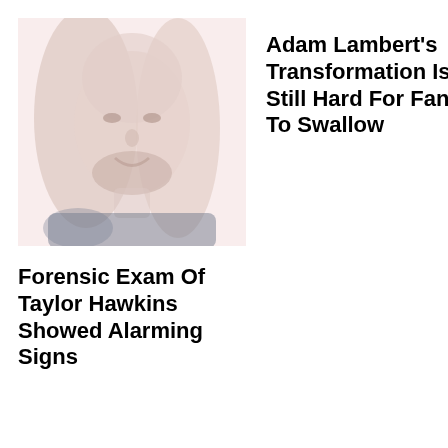[Figure (photo): Faded/washed-out portrait photo of a man with long hair and a beard, smiling, shown from shoulders up against a light background.]
Forensic Exam Of Taylor Hawkins Showed Alarming Signs
Adam Lambert's Transformation Is Still Hard For Fans To Swallow